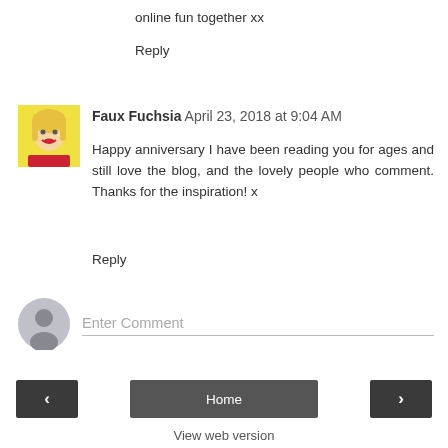online fun together xx
Reply
[Figure (photo): Profile photo of Faux Fuchsia: illustrated/cartoon-style portrait of a woman with red lips and blonde hair on yellow background]
Faux Fuchsia April 23, 2018 at 9:04 AM
Happy anniversary I have been reading you for ages and still love the blog, and the lovely people who comment. Thanks for the inspiration! x
Reply
[Figure (illustration): Generic grey user avatar silhouette icon]
Enter Comment
Home
View web version
Powered by Blogger.